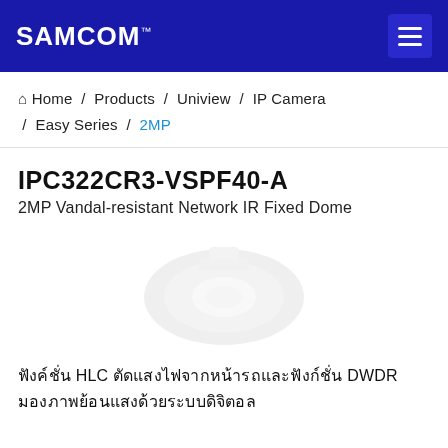SAMCOM™
Home / Products / Uniview / IP Camera / Easy Series / 2MP
IPC322CR3-VSPF40-A
2MP Vandal-resistant Network IR Fixed Dome
[Figure (photo): Product image of IPC322CR3-VSPF40-A dome camera (faint/watermarked)]
ฟังค์ชั่น HLC ตัดแสงไฟจากหน้ารถและฟังก์ชั่น DWDR มองภาพย้อนแสงด้วยระบบดิจิตอล